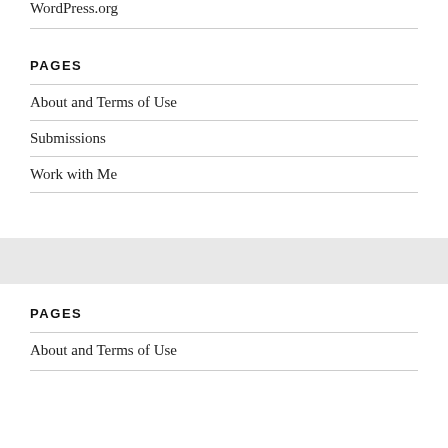WordPress.org
PAGES
About and Terms of Use
Submissions
Work with Me
PAGES
About and Terms of Use